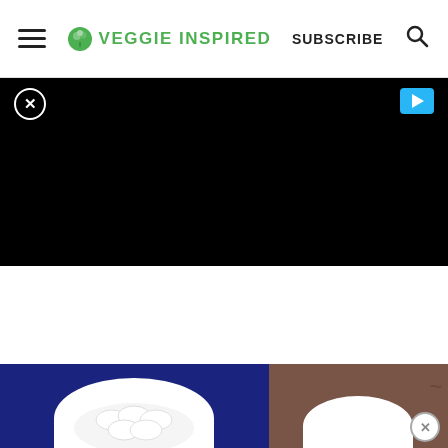☰ 🥦 VEGGIE INSPIRED   SUBSCRIBE   🔍
[Figure (other): Black advertisement banner with close (X) button on top left and blue play button on top right]
[Figure (photo): Food photo showing dumplings in a white bowl on dark blue background on the left, and a brown sauce or drink in a white bowl on the right]